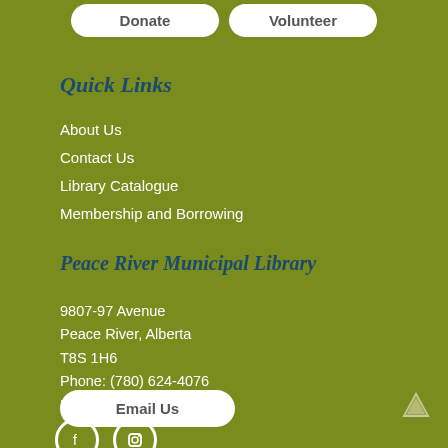Donate
Volunteer
Quick Links
About Us
Contact Us
Library Catalogue
Membership and Borrowing
Peace River Municipal Library
9807-97 Avenue
Peace River, Alberta
T8S 1H6
Phone: (780) 624-4076
Fax: (780) 624-4086
Email Us
[Figure (other): Up arrow icon / back to top button]